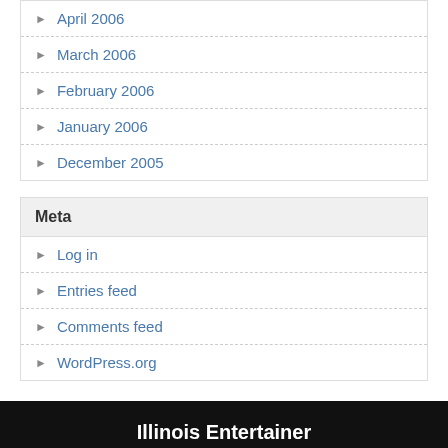April 2006
March 2006
February 2006
January 2006
December 2005
Meta
Log in
Entries feed
Comments feed
WordPress.org
Illinois Entertainer
© 2022 Illinois Entertainer. All rights reserved. Theme by Solostream.